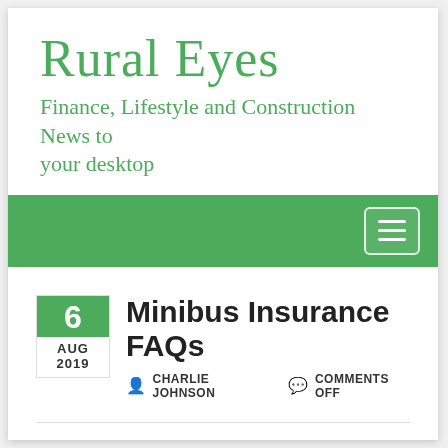Rural Eyes
Finance, Lifestyle and Construction News to your desktop
Navigation menu bar
6 AUG 2019 — Minibus Insurance FAQs
CHARLIE JOHNSON   COMMENTS OFF